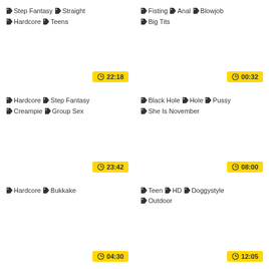Step Fantasy Straight Hardcore Teens 22:18
Fisting Anal Blowjob Big Tits 00:32
Hardcore Step Fantasy Creampie Group Sex 23:42
Black Hole Hole Pussy She Is November 08:00
Hardcore Bukkake 04:30
Teen HD Doggystyle Outdoor 12:05